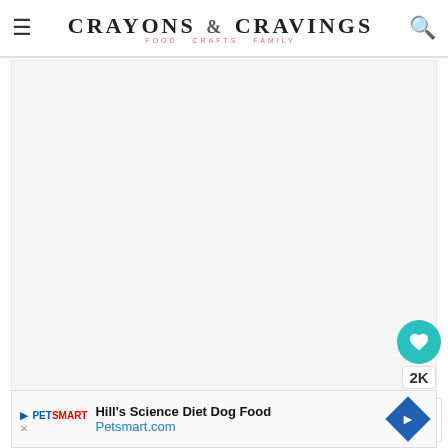CRAYONS & CRAVINGS — FOOD CRAFTS FAMILY
[Figure (photo): Large blank/white image area placeholder for a food photograph]
Marshmallows | I used large marshmallows that I cut in love the larger pieces of
[Figure (photo): What's Next thumbnail - Valentine's Day Raspbe...]
[Figure (other): Advertisement: Hill's Science Diet Dog Food - Petsmart.com]